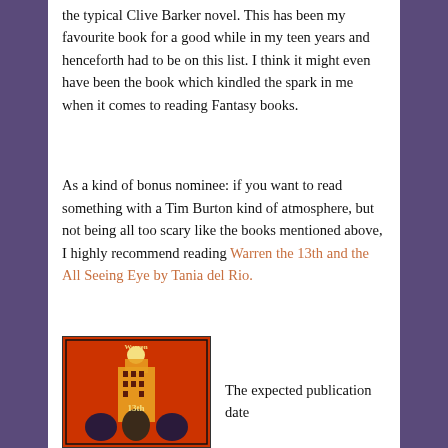the typical Clive Barker novel. This has been my favourite book for a good while in my teen years and henceforth had to be on this list. I think it might even have been the book which kindled the spark in me when it comes to reading Fantasy books.
As a kind of bonus nominee: if you want to read something with a Tim Burton kind of atmosphere, but not being all too scary like the books mentioned above, I highly recommend reading Warren the 13th and the All Seeing Eye by Tania del Rio.
[Figure (illustration): Book cover of Warren the 13th - red background with illustrated characters and gothic hotel imagery, title text in stylized font]
The expected publication date